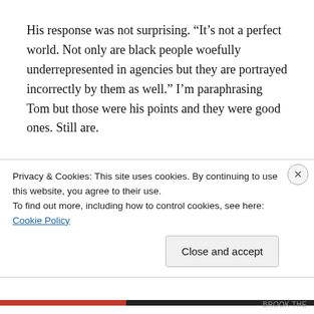His response was not surprising. “It’s not a perfect world. Not only are black people woefully underrepresented in agencies but they are portrayed incorrectly by them as well.” I’m paraphrasing Tom but those were his points and they were good ones. Still are.

Yet, part of understanding people from other cultures is to walk in their shoes. While that is not literally possible it is possible in literature. And art. And copy. Moreover, I think
Privacy & Cookies: This site uses cookies. By continuing to use this website, you agree to their use.
To find out more, including how to control cookies, see here: Cookie Policy
Close and accept